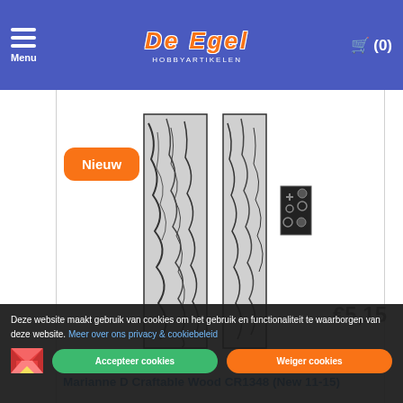Menu | De Egel Hobbyartikelen | Cart (0)
[Figure (photo): Product photo of Marianne D Craftable Wood CR1348 showing two wood-patterned strips and small connector pieces, black and white illustration. Orange 'Nieuw' badge in top-left.]
Marianne D Craftable Wood CR1348 (New 11-15)
Soort: Omschrijving: Marianne Design Craftable WoodInhoud: 3 pcs - 19 x 99.5 mm, 11.5 x 99.5 mm and 18 x 15 mm
Deze website maakt gebruik van cookies om het gebruik en functionaliteit te waarborgen van deze website. Meer over ons privacy & cookiebeleid
Accepteer cookies
Weiger cookies